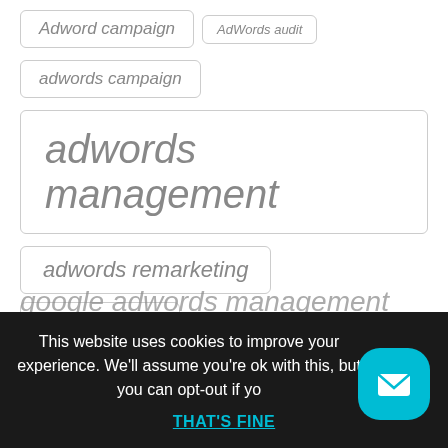Adword campaign
AdWords audit
adwords campaign
adwords management
adwords remarketing
Google Ads
Google ads campaign
Google Ads Interface
Google Ads management
google ads management services
google adwords management
google remarketing services
This website uses cookies to improve your experience. We'll assume you're ok with this, but you can opt-out if yo
THAT'S FINE